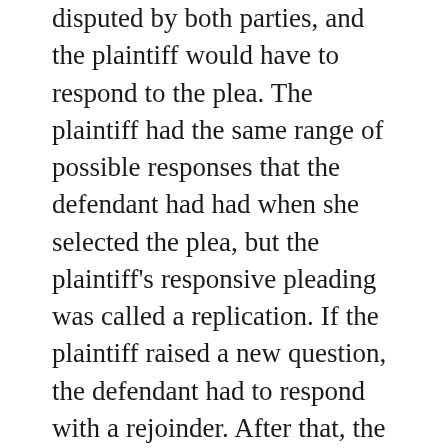disputed by both parties, and the plaintiff would have to respond to the plea. The plaintiff had the same range of possible responses that the defendant had had when she selected the plea, but the plaintiff's responsive pleading was called a replication. If the plaintiff raised a new question, the defendant had to respond with a rejoinder. After that, the pleading process could bounce back and forth with a surrejoinder, a rebutter, and a surrebutter. Common-law pleading thus became so complex and hypertechnical that it has now been replaced by CODE PLEADING and pleading similar to that of the federal CIVIL PROCEDURE